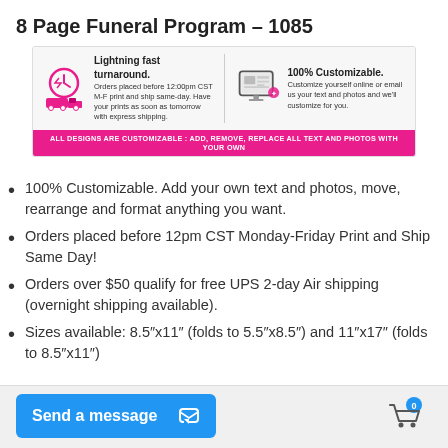8 Page Funeral Program – 1085
[Figure (infographic): Promotional banner with two sections: left shows a clock icon with text 'Lightning fast turnaround. Orders placed before 12:00pm CST M-F print and ship same-day. Have your prints as soon as tomorrow with express shipping.' Right shows a monitor/computer icon with text '100% Customizable. Customize yourself online or email us your text and photos and we'll customize for you.' Below is a pink bar reading 'ALL DESIGNS ARE CUSTOMIZABLE : ADD, REMOVE, REPLACE ALL TEXT AND PHOTOS WITH YOUR OWN']
100% Customizable. Add your own text and photos, move, rearrange and format anything you want.
Orders placed before 12pm CST Monday-Friday Print and Ship Same Day!
Orders over $50 qualify for free UPS 2-day Air shipping (overnight shipping available).
Sizes available: 8.5"x11" (folds to 5.5"x8.5") and 11"x17" (folds to 8.5"x11")